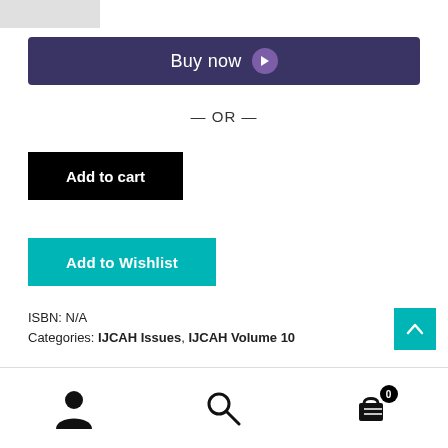[Figure (other): Top left logo/image placeholder (greyed out rectangle)]
Buy now
— OR —
Add to cart
Add to Wishlist
ISBN: N/A
Categories: IJCAH Issues, IJCAH Volume 10
[Figure (other): Teal scroll-to-top button with upward chevron arrow]
[Figure (other): Bottom navigation bar with user icon, search icon, and cart icon with badge 0]